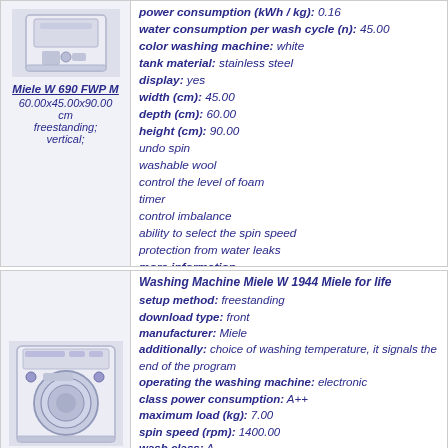[Figure (photo): Miele W 690 FWP M washing machine product photo, white, top-loader style]
Miele W 690 FWP M
60.00x45.00x90.00 cm
freestanding;
vertical;
power consumption (kWh/kg): 0.16
water consumption per wash cycle (n): 45.00
color washing machine: white
tank material: stainless steel
display: yes
width (cm): 45.00
depth (cm): 60.00
height (cm): 90.00
undo spin
washable wool
control the level of foam
timer
control imbalance
ability to select the spin speed
protection from water leaks
more information
[Figure (photo): Miele W 1944 front-loading washing machine product photo, white]
Washing Machine Miele W 1944 Miele for life
setup method: freestanding
download type: front
manufacturer: Miele
additionally: choice of washing temperature, it signals the end of the program
operating the washing machine: electronic
class power consumption: A++
maximum load (kg): 7.00
spin speed (rpm): 1400.00
wash class: A
spin efficiency class: A
size of the hatch for loading laundry (cm): 30.00
special washing programs: prewash, super-